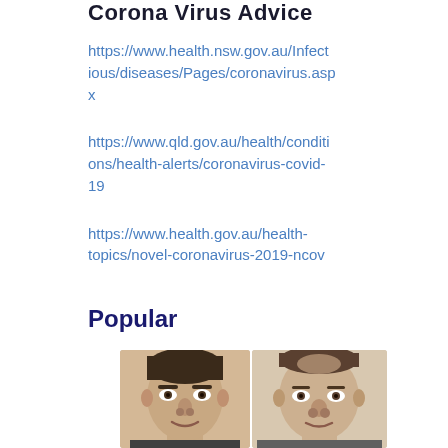Corona Virus Advice
https://www.health.nsw.gov.au/Infectious/diseases/Pages/coronavirus.aspx
https://www.qld.gov.au/health/conditions/health-alerts/coronavirus-covid-19
https://www.health.gov.au/health-topics/novel-coronavirus-2019-ncov
Popular
[Figure (photo): Two male faces side by side, appearing to be police or government identification photos]